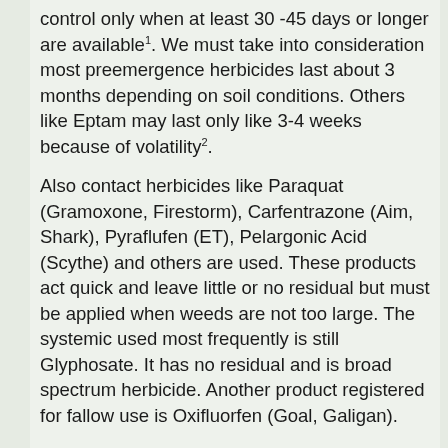control only when at least 30 -45 days or longer are available1. We must take into consideration most preemergence herbicides last about 3 months depending on soil conditions. Others like Eptam may last only like 3-4 weeks because of volatility2. Also contact herbicides like Paraquat (Gramoxone, Firestorm), Carfentrazone (Aim, Shark), Pyraflufen (ET), Pelargonic Acid (Scythe) and others are used. These products act quick and leave little or no residual but must be applied when weeds are not too large. The systemic used most frequently is still Glyphosate. It has no residual and is broad spectrum herbicide. Another product registered for fallow use is Oxifluorfen (Goal, Galigan).
Another method used for lowering the seed bank in the summer is “Solarization”. Transparent polyethylene is effective for heating the soil. It is sufficient 4-6 weeks for satisfactory control of most weeds. Some weeds are very sensitive to solar heating of the soil. Sweet clover